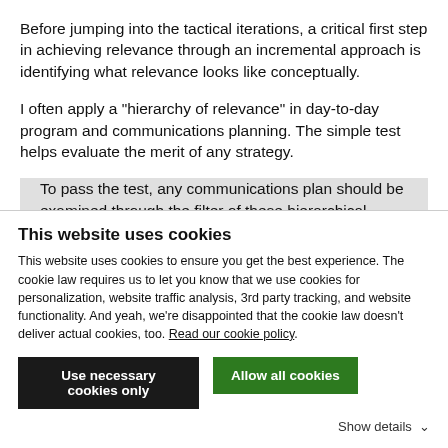Before jumping into the tactical iterations, a critical first step in achieving relevance through an incremental approach is identifying what relevance looks like conceptually.
I often apply a "hierarchy of relevance" in day-to-day program and communications planning. The simple test helps evaluate the merit of any strategy.
To pass the test, any communications plan should be examined through the filter of these hierarchical needs:
This website uses cookies
This website uses cookies to ensure you get the best experience. The cookie law requires us to let you know that we use cookies for personalization, website traffic analysis, 3rd party tracking, and website functionality. And yeah, we're disappointed that the cookie law doesn't deliver actual cookies, too. Read our cookie policy.
Use necessary cookies only
Allow all cookies
Show details ∨